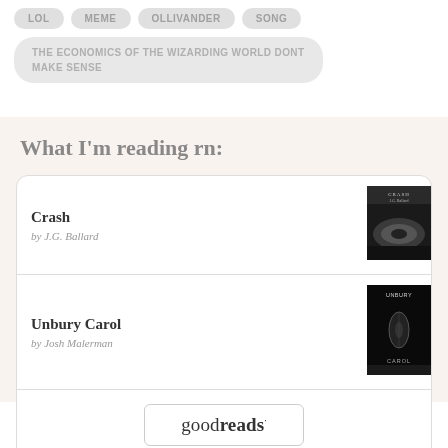LOL
MEME
OLLIVANDER
SONG
THE ECONOMICS OF THE WIZARDING WORLD DONT MAKE SENSE
What I'm reading rn:
Crash by J.G. Ballard
Unbury Carol by Josh Malerman
[Figure (logo): goodreads logo inside a rounded rectangle button]